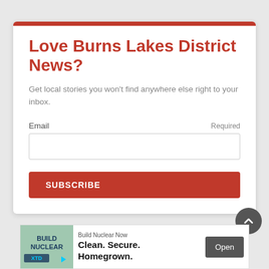Love Burns Lakes District News?
Get local stories you won't find anywhere else right to your inbox.
Email   Required
[Figure (screenshot): Email input field]
SUBSCRIBE
[Figure (infographic): Scroll to top button (dark circle with chevron up)]
[Figure (infographic): Advertisement banner: Build Nuclear Now — Clean. Secure. Homegrown. with Open button]